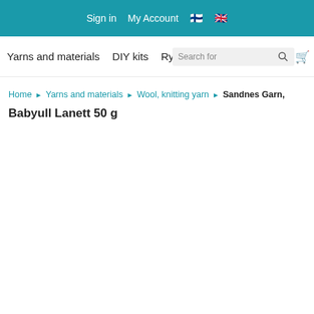Sign in  My Account 🇫🇮 🇬🇧
Yarns and materials   DIY kits   Rya...   Search for
Home ▶ Yarns and materials ▶ Wool, knitting yarn ▶ Sandnes Garn, Babyull Lanett 50 g
Babyull Lanett 50 g